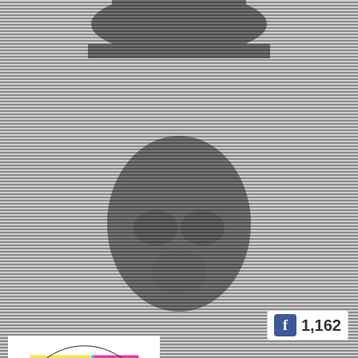[Figure (photo): Black and white scan-line style image of a person's face/silhouette against a striped background]
[Figure (infographic): Facebook like count badge showing f logo and 1,162]
[Figure (logo): Another Experiment by Women Film Festival Screening Series logo - colorful geometric design with letters WA]
Another Experiment by Women Film Festival Screening Series
Another Experiment by Women Film Festival Screening Series gives Women's Work a Real Time & Space IN NYC!
[Figure (logo): Small version of Another Experiment by Women Film Festival Screening Series logo]
Another Experiment by Women Film Festival Screening Series updated their status.
4 months ago